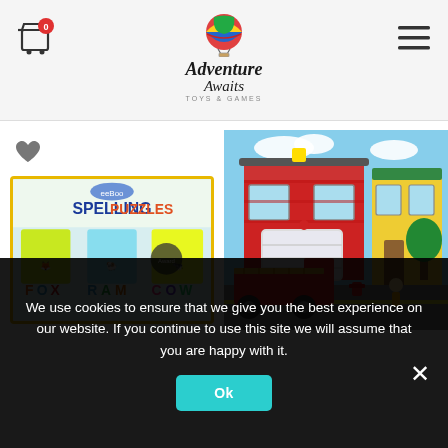[Figure (logo): Adventure Awaits Toys & Games logo with hot air balloon, shopping cart icon with 0 badge, and hamburger menu icon]
[Figure (photo): Spelling Puzzles product box with yellow border showing fox, ram, cow puzzle pieces]
[Figure (photo): Fire station scene puzzle/game with fire truck, firefighters, buildings]
We use cookies to ensure that we give you the best experience on our website. If you continue to use this site we will assume that you are happy with it.